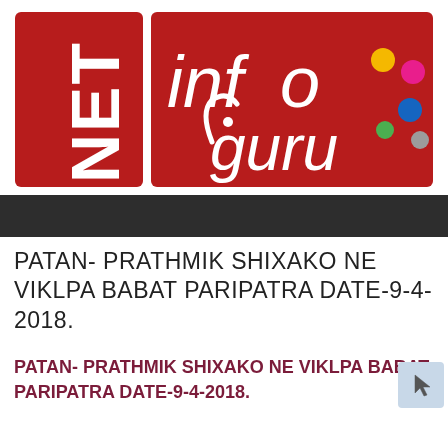[Figure (logo): NET InfoGuru logo — red background with white bold text 'NET' on left block and 'infoguru' script text with colorful dots on right]
PATAN- PRATHMIK SHIXAKO NE VIKLPA BABAT PARIPATRA DATE-9-4-2018.
PATAN- PRATHMIK SHIXAKO NE VIKLPA BABAT PARIPATRA DATE-9-4-2018.